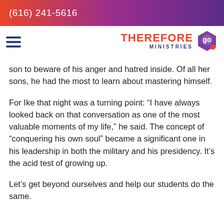(616) 241-5616
[Figure (logo): Therefore Go Ministries logo with hamburger menu icon]
son to beware of his anger and hatred inside. Of all her sons, he had the most to learn about mastering himself.
For Ike that night was a turning point: “I have always looked back on that conversation as one of the most valuable moments of my life,” he said. The concept of “conquering his own soul” became a significant one in his leadership in both the military and his presidency. It’s the acid test of growing up.
Let’s get beyond ourselves and help our students do the same.